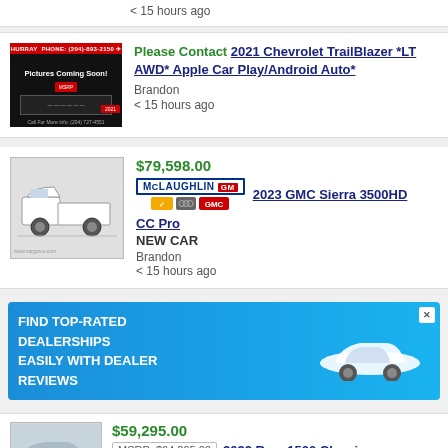< 15 hours ago
[Figure (photo): Murray dealership placeholder image showing 'Pictures Coming Soon!']
Please Contact  2021 Chevrolet TrailBlazer *LT AWD* Apple Car Play/Android Auto*
Brandon
< 15 hours ago
[Figure (photo): White GMC Sierra 3500HD truck side view]
$79,598.00
[Figure (logo): McLaughlin GM dealership logo with Chevrolet, Buick, GMC icons]
2023 GMC Sierra 3500HD
CC Pro
NEW CAR
Brandon
< 15 hours ago
[Figure (infographic): Blue advertisement banner: FIND TOP-RATED DEALERSHIPS EASILY WITH DEALER REVIEWS with car image]
[Figure (photo): Partial car image at bottom]
$59,295.00
MSRP: $64,295.00  2022 Ram 1500 Classic